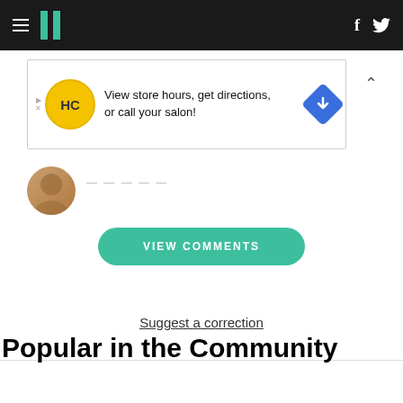HuffPost navigation header with hamburger menu, logo, Facebook and Twitter icons
[Figure (screenshot): HC salon advertisement banner: View store hours, get directions, or call your salon!]
[Figure (photo): Author avatar circular photo]
Suggest a correction
VIEW COMMENTS
Popular in the Community